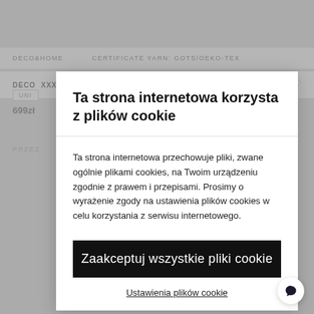DECO&HOME   CERTIFICATE YARN: GOTS/OEKO-TEX
Ta strona internetowa korzysta z plików cookie
Ta strona internetowa przechowuje pliki, zwane ogólnie plikami cookies, na Twoim urządzeniu zgodnie z prawem i przepisami. Prosimy o wyrażenie zgody na ustawienia plików cookies w celu korzystania z serwisu internetowego.
Zaakceptuj wszystkie pliki cookie
Ustawienia plików cookie